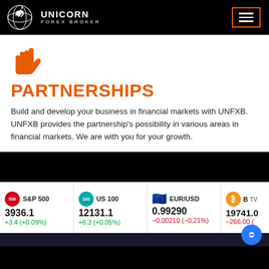UNICORN FOREX BROKER — navigation header
[Figure (logo): Unicorn Forex Broker logo with unicorn emblem on black background]
PARTNERSHIPS
Build and develop your business in financial markets with UNFXB. UNFXB provides the partnership's possibility in various areas in financial markets. We are with you for your growth.
| Index | Value | Change |
| --- | --- | --- |
| S&P 500 | 3936.1 | +3.4 (+0.09%) |
| US 100 | 12131.1 | +6.3 (+0.05%) |
| EUR/USD | 0.99290 | −0.00210 (−0.21%) |
| BTC | 19741.00 | −266.00 (...) |